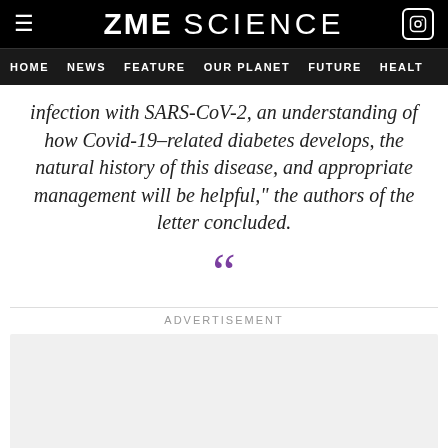ZME SCIENCE
HOME  NEWS  FEATURE  OUR PLANET  FUTURE  HEALT
infection with SARS-CoV-2, an understanding of how Covid-19–related diabetes develops, the natural history of this disease, and appropriate management will be helpful,” the authors of the letter concluded.
[Figure (illustration): Large purple opening double quotation mark decorative element]
ADVERTISEMENT
[Figure (other): Gray advertisement placeholder box]